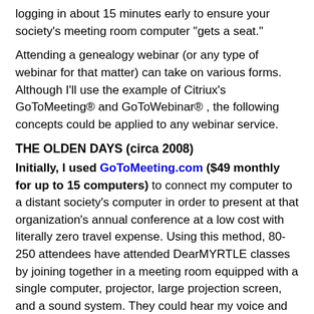logging in about 15 minutes early to ensure your society's meeting room computer "gets a seat."
Attending a genealogy webinar (or any type of webinar for that matter) can take on various forms. Although I'll use the example of Citriux's GoToMeeting® and GoToWebinar® , the following concepts could be applied to any webinar service.
THE OLDEN DAYS (circa 2008)
Initially, I used GoToMeeting.com ($49 monthly for up to 15 computers) to connect my computer to a distant society's computer in order to present at that organization's annual conference at a low cost with literally zero travel expense. Using this method, 80-250 attendees have attended DearMYRTLE classes by joining together in a meeting room equipped with a single computer, projector, large projection screen, and a sound system. They could hear my voice and watch my PowerPoint screen on my computer. I could hear them through their telephone connection or their public address system.
[Figure (photo): Bottom edge of an image showing a warm tan/brown colored strip, likely a screenshot or photo related to GoToMeeting or webinar content, partially visible at the bottom of the page.]